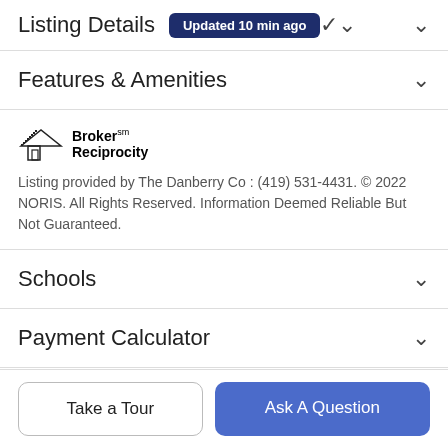Listing Details Updated 10 min ago
Features & Amenities
[Figure (logo): Broker Reciprocity logo with house icon]
Listing provided by The Danberry Co : (419) 531-4431. © 2022 NORIS. All Rights Reserved. Information Deemed Reliable But Not Guaranteed.
Schools
Payment Calculator
Contact Agent
Take a Tour
Ask A Question